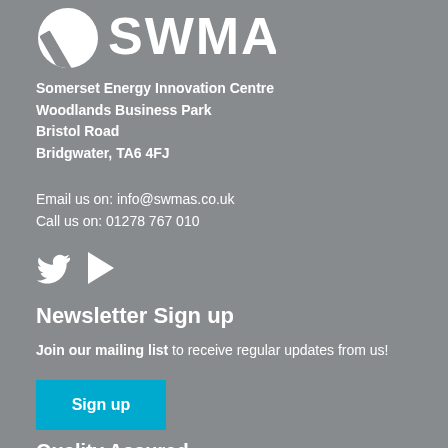[Figure (logo): SWMAS logo — white circular icon with diagonal stripe and 'SWMAS' text]
Somerset Energy Innovation Centre
Woodlands Business Park
Bristol Road
Bridgwater, TA6 4FJ
Email us on: info@swmas.co.uk
Call us on: 01278 767 010
[Figure (illustration): Twitter bird icon and play/video icon in white]
Newsletter Sign up
Join our mailing list to receive regular updates from us!
[Figure (other): Blue 'Sign up' button]
Quality Assured